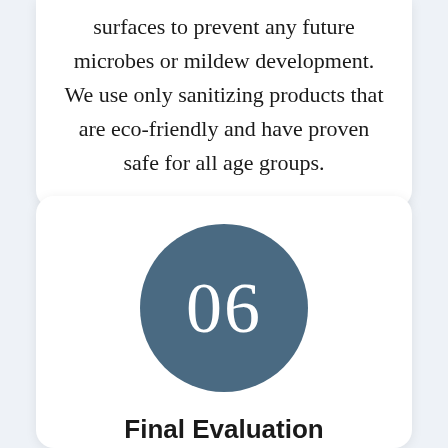surfaces to prevent any future microbes or mildew development. We use only sanitizing products that are eco-friendly and have proven safe for all age groups.
[Figure (infographic): A circular dark steel-blue badge containing the number 06 in white text, representing step 6.]
Final Evaluation